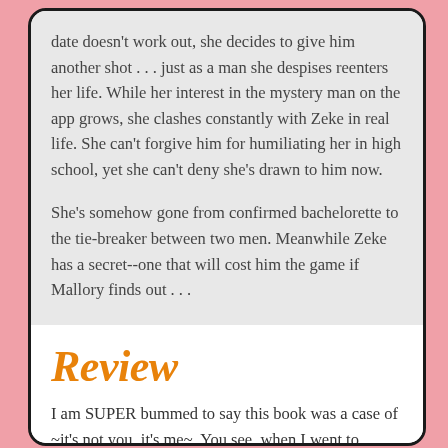date doesn't work out, she decides to give him another shot . . . just as a man she despises reenters her life. While her interest in the mystery man on the app grows, she clashes constantly with Zeke in real life. She can't forgive him for humiliating her in high school, yet she can't deny she's drawn to him now.
She's somehow gone from confirmed bachelorette to the tie-breaker between two men. Meanwhile Zeke has a secret--one that will cost him the game if Mallory finds out . . .
Review
I am SUPER bummed to say this book was a case of ~it's not you, it's me~. You see, when I went to